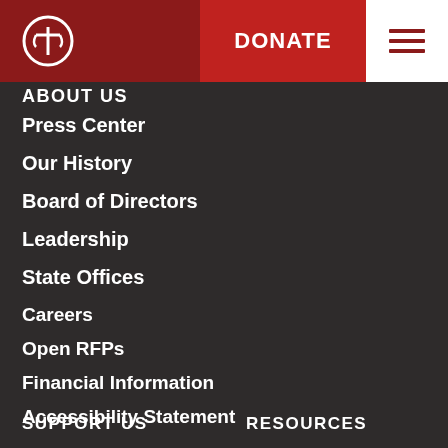DONATE | [hamburger menu]
ABOUT US
Press Center
Our History
Board of Directors
Leadership
State Offices
Careers
Open RFPs
Financial Information
Accessibility Statement
Privacy & Terms
Contact Us
Press Inquiries
SUPPORT US
RESOURCES